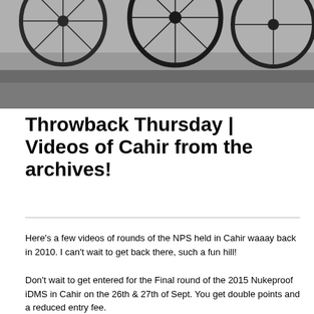[Figure (photo): Black and white vintage photograph showing bicycle wheels on grass/dirt ground, cropped to show lower portion of bicycles]
Throwback Thursday | Videos of Cahir from the archives!
Here's a few videos of rounds of the NPS held in Cahir waaay back in 2010. I can't wait to get back there, such a fun hill!
Don't wait to get entered for the Final round of the 2015 Nukeproof iDMS in Cahir on the 26th & 27th of Sept. You get double points and a reduced entry fee.